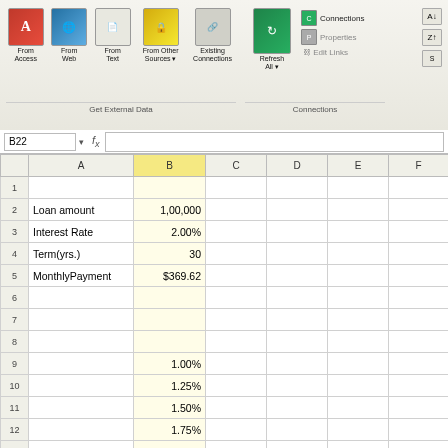[Figure (screenshot): Excel ribbon showing Get External Data group (From Access, From Web, From Text, From Other Sources, Existing Connections) and Connections group (Refresh All, Connections, Properties, Edit Links) with sort buttons]
|  | A | B | C | D | E | F |
| --- | --- | --- | --- | --- | --- | --- |
| 1 |  |  |  |  |  |  |
| 2 | Loan amount | 1,00,000 |  |  |  |  |
| 3 | Interest Rate | 2.00% |  |  |  |  |
| 4 | Term(yrs.) | 30 |  |  |  |  |
| 5 | MonthlyPayment | $369.62 |  |  |  |  |
| 6 |  |  |  |  |  |  |
| 7 |  |  |  |  |  |  |
| 8 |  |  |  |  |  |  |
| 9 |  | 1.00% |  |  |  |  |
| 10 |  | 1.25% |  |  |  |  |
| 11 |  | 1.50% |  |  |  |  |
| 12 |  | 1.75% |  |  |  |  |
| 13 |  | 2.00% |  |  |  |  |
| 14 |  | 2.25% |  |  |  |  |
| 15 |  | 2.50% |  |  |  |  |
| 16 |  | 2.75% |  |  |  |  |
| 17 |  | 3.00% |  |  |  |  |
| 18 |  | 3.25% |  |  |  |  |
| 19 |  | 3.50% |  |  |  |  |
| 20 |  | 3.75% |  |  |  |  |
| 21 |  | 4.00% |  |  |  |  |
| 22 |  |  |  |  |  |  |